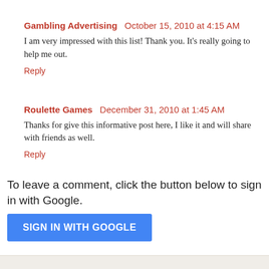Gambling Advertising  October 15, 2010 at 4:15 AM
I am very impressed with this list! Thank you. It's really going to help me out.
Reply
Roulette Games  December 31, 2010 at 1:45 AM
Thanks for give this informative post here, I like it and will share with friends as well.
Reply
To leave a comment, click the button below to sign in with Google.
SIGN IN WITH GOOGLE